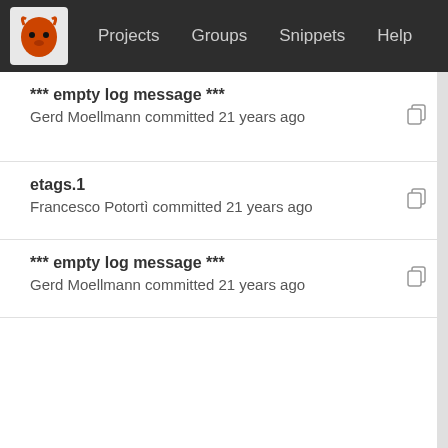Projects  Groups  Snippets  Help
*** empty log message ***
Gerd Moellmann committed 21 years ago
etags.1
Francesco Potortì committed 21 years ago
*** empty log message ***
Gerd Moellmann committed 21 years ago
*** empty log message ***
Gerd Moellmann committed 21 years ago